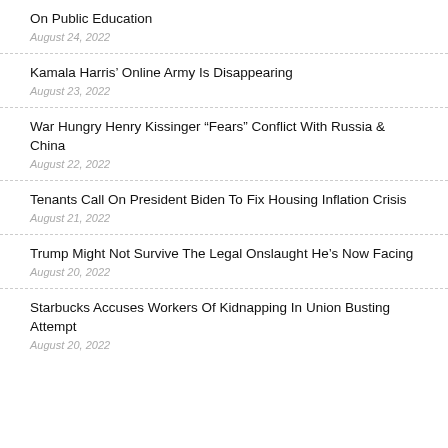On Public Education
August 24, 2022
Kamala Harris’ Online Army Is Disappearing
August 23, 2022
War Hungry Henry Kissinger “Fears” Conflict With Russia & China
August 22, 2022
Tenants Call On President Biden To Fix Housing Inflation Crisis
August 21, 2022
Trump Might Not Survive The Legal Onslaught He’s Now Facing
August 20, 2022
Starbucks Accuses Workers Of Kidnapping In Union Busting Attempt
August 20, 2022